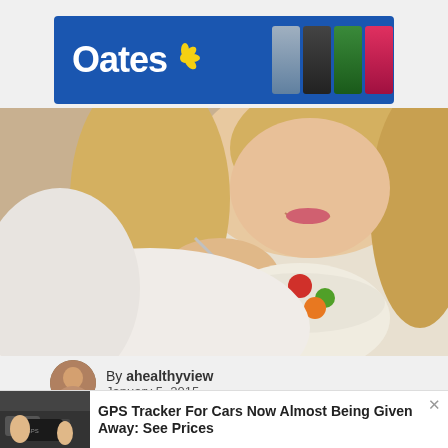[Figure (logo): Oates brand banner advertisement with blue background, white Oates logo with yellow flower, and colorful cleaning product swatches on the right]
[Figure (photo): Woman in white robe lying down and eating a bowl of fresh fruit salad with a spoon, smiling]
By ahealthyview
January 5, 2015
[Figure (screenshot): GPS Tracker advertisement popup showing a hand holding a small black GPS tracker device near a car engine, with text 'GPS Tracker For Cars Now Almost Being Given Away: See Prices']